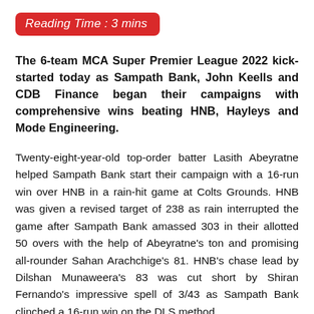Reading Time : 3 mins
The 6-team MCA Super Premier League 2022 kick-started today as Sampath Bank, John Keells and CDB Finance began their campaigns with comprehensive wins beating HNB, Hayleys and Mode Engineering.
Twenty-eight-year-old top-order batter Lasith Abeyratne helped Sampath Bank start their campaign with a 16-run win over HNB in a rain-hit game at Colts Grounds. HNB was given a revised target of 238 as rain interrupted the game after Sampath Bank amassed 303 in their allotted 50 overs with the help of Abeyratne's ton and promising all-rounder Sahan Arachchige's 81. HNB's chase lead by Dilshan Munaweera's 83 was cut short by Shiran Fernando's impressive spell of 3/43 as Sampath Bank clinched a 16-run win on the DLS method.